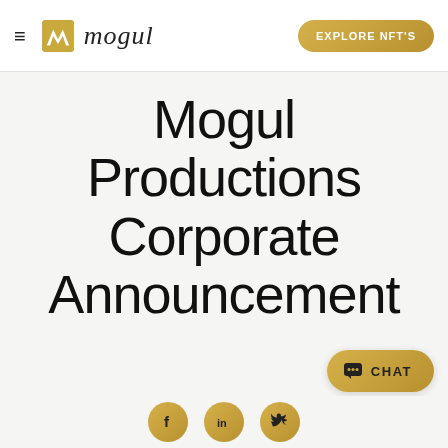mogul — EXPLORE NFT'S
Mogul Productions Corporate Announcement
[Figure (illustration): Chat button with speech bubble icon and text CHAT]
[Figure (illustration): Social media icons row: Facebook, LinkedIn, Twitter — gold circles at bottom of page]